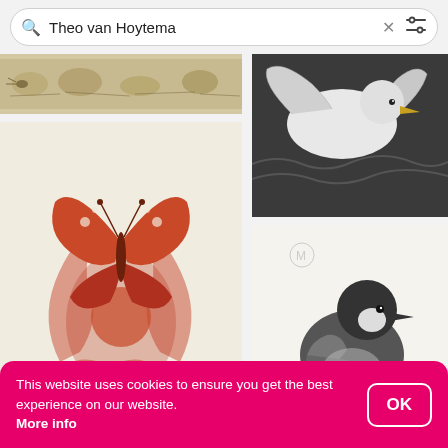[Figure (screenshot): Search bar with text 'Theo van Hoytema', an X (clear) button, and a filter/settings icon on the right]
[Figure (photo): Top-left partial image: sepia-toned decorative print with animals and plants in a horizontal strip]
[Figure (photo): Top-right image: black and white print of a seagull or water bird with spread wings on water]
[Figure (illustration): Large left image: red/rust-colored Art Nouveau style print of a butterfly resting on a large flower with swirling stems and leaves, signed TJ]
[Figure (illustration): Middle-right image: black and white pencil/lithograph drawing of a jay bird standing, with a faint circled M watermark in top left]
[Figure (photo): Bottom-left partial image: yellow/golden foliage or plant illustration, partially visible]
This website uses cookies to ensure you get the best experience on our website. More info
OK